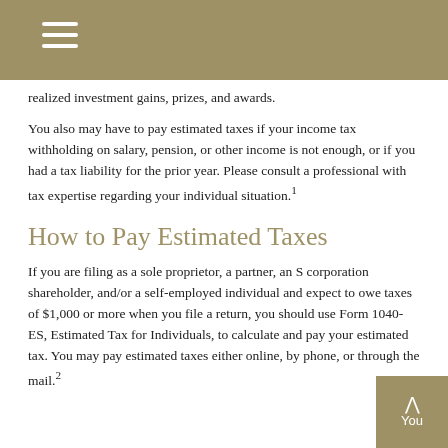realized investment gains, prizes, and awards.
You also may have to pay estimated taxes if your income tax withholding on salary, pension, or other income is not enough, or if you had a tax liability for the prior year. Please consult a professional with tax expertise regarding your individual situation.1
How to Pay Estimated Taxes
If you are filing as a sole proprietor, a partner, an S corporation shareholder, and/or a self-employed individual and expect to owe taxes of $1,000 or more when you file a return, you should use Form 1040-ES, Estimated Tax for Individuals, to calculate and pay your estimated tax. You may pay estimated taxes either online, by phone, or through the mail.2